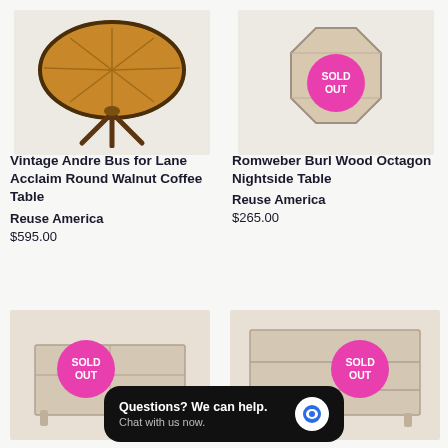[Figure (photo): Round walnut coffee table with starburst inlay and tripod legs]
[Figure (photo): Romweber burl wood octagon nightside table with SOLD OUT badge]
Vintage Andre Bus for Lane Acclaim Round Walnut Coffee Table
Reuse America
$595.00
Romweber Burl Wood Octagon Nightside Table
Reuse America
$265.00
[Figure (photo): Light wood dresser/low chest with SOLD OUT badge]
[Figure (photo): Light wood bookcase/shelving unit with SOLD OUT badge]
Questions? We can help. Chat with us now.